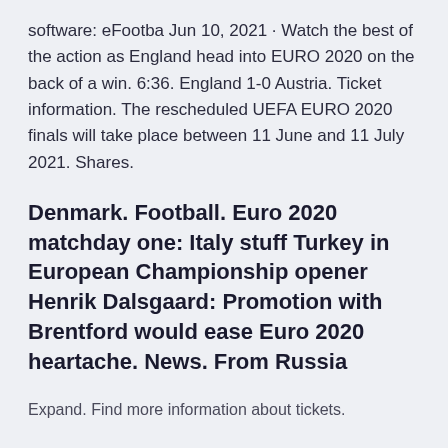software: eFootba Jun 10, 2021 · Watch the best of the action as England head into EURO 2020 on the back of a win. 6:36. England 1-0 Austria. Ticket information. The rescheduled UEFA EURO 2020 finals will take place between 11 June and 11 July 2021. Shares.
Denmark. Football. Euro 2020 matchday one: Italy stuff Turkey in European Championship opener Henrik Dalsgaard: Promotion with Brentford would ease Euro 2020 heartache. News. From Russia
Expand. Find more information about tickets.